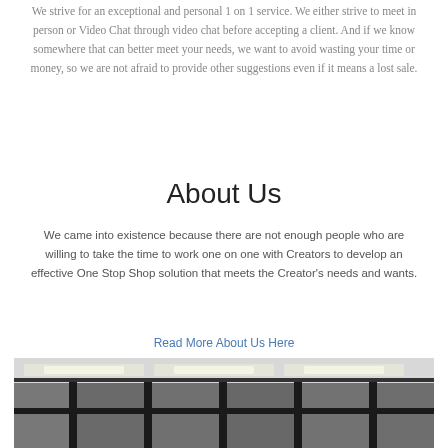We strive for an exceptional and personal 1 on 1 service. We either strive to meet in person or Video Chat through video chat before accepting a client. And if we know somewhere that can better meet your needs, we want to avoid wasting your time or money, so we are not afraid to provide other suggestions even if it means a lost sale.
About Us
We came into existence because there are not enough people who are willing to take the time to work one on one with Creators to develop an effective One Stop Shop solution that meets the Creator's needs and wants.
Read More About Us Here
[Figure (photo): Interior office photo showing large windows and ceiling lights in black and white/dark tones]